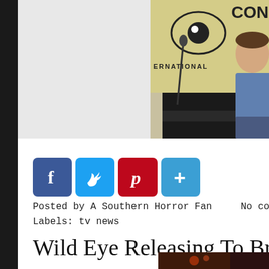[Figure (photo): Comic-Con International panel scene with a person sitting at a table in front of a Comic-Con International banner with a microphone. Person wearing a blue denim shirt, dark jeans. Yellow Comic-Con logo visible at top right.]
[Figure (infographic): Row of four social media sharing buttons: Facebook (blue, 'f'), Twitter (light blue, bird), Pinterest (red, 'P'), and a blue '+' more button.]
Posted by A Southern Horror Fan    No comments:
Labels: tv news
Wild Eye Releasing To Bring Aussie SciFi
[Figure (photo): Partial bottom strip photo showing a dark/reddish scene, partially visible at bottom right corner.]